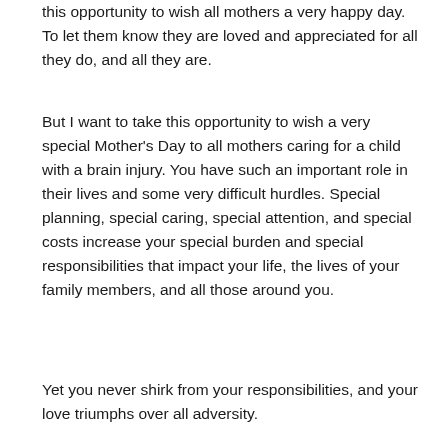this opportunity to wish all mothers a very happy day. To let them know they are loved and appreciated for all they do, and all they are.
But I want to take this opportunity to wish a very special Mother's Day to all mothers caring for a child with a brain injury. You have such an important role in their lives and some very difficult hurdles. Special planning, special caring, special attention, and special costs increase your special burden and special responsibilities that impact your life, the lives of your family members, and all those around you.
Yet you never shirk from your responsibilities, and your love triumphs over all adversity.